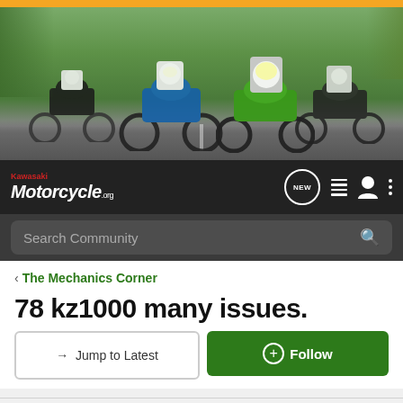[Figure (photo): Banner photo of motorcyclists riding on a road, with three bikes visible including a blue touring bike, a green sportbike, and a dark cruiser. Orange bar at top.]
Kawasaki Motorcycle.org — navigation bar with NEW, list, user, and menu icons, and Search Community search bar
< The Mechanics Corner
78 kz1000 many issues.
→ Jump to Latest   + Follow
1 - 16 of 16 Posts
bordguy · Registered
Joined Dec 27, 2007 · 43 Posts